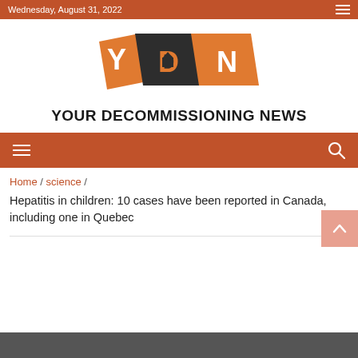Wednesday, August 31, 2022
[Figure (logo): YDN logo with orange and dark squares containing letters Y, D, N and text YOUR DECOMMISSIONING NEWS below]
YOUR DECOMMISSIONING NEWS
Home / science /
Hepatitis in children: 10 cases have been reported in Canada, including one in Quebec